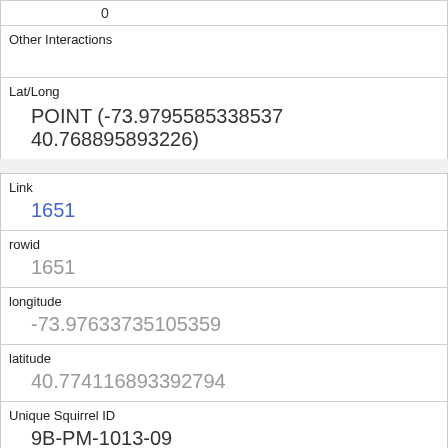| 0 |
| Other Interactions |  |
| Lat/Long | POINT (-73.9795585338537 40.768895893226) |
| Link | 1651 |
| rowid | 1651 |
| longitude | -73.97633735105359 |
| latitude | 40.774116893392794 |
| Unique Squirrel ID | 9B-PM-1013-09 |
| Hectare | 09B |
| Shift | PM |
| Date |  |